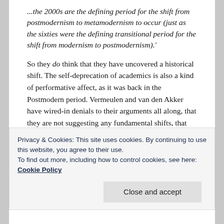...the 2000s are the defining period for the shift from postmodernism to metamodernism to occur (just as the sixties were the defining transitional period for the shift from modernism to postmodernism).'
So they do think that they have uncovered a historical shift. The self-deprecation of academics is also a kind of performative affect, as it was back in the Postmodern period. Vermeulen and van den Akker have wired-in denials to their arguments all along, that they are not suggesting any fundamental shifts, that they come out with their hands up, as ordinary men, at the same time as they announce a new epoch, like benevolent Gods. (And in the introduction to my copy of The
Privacy & Cookies: This site uses cookies. By continuing to use this website, you agree to their use.
To find out more, including how to control cookies, see here: Cookie Policy